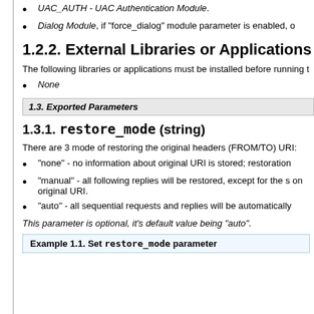UAC_AUTH - UAC Authentication Module.
Dialog Module, if "force_dialog" module parameter is enabled, o
1.2.2. External Libraries or Applications
The following libraries or applications must be installed before running t
None
1.3. Exported Parameters
1.3.1. restore_mode (string)
There are 3 mode of restoring the original headers (FROM/TO) URI:
"none" - no information about original URI is stored; restoration
"manual" - all following replies will be restored, except for the s on original URI.
"auto" - all sequential requests and replies will be automatically
This parameter is optional, it's default value being "auto".
Example 1.1. Set restore_mode parameter